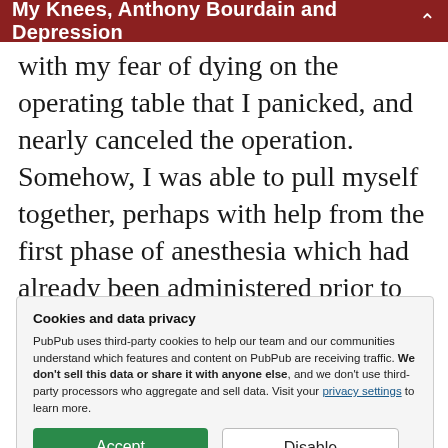My Knees, Anthony Bourdain and Depression
with my fear of dying on the operating table that I panicked, and nearly canceled the operation. Somehow, I was able to pull myself together, perhaps with help from the first phase of anesthesia which had already been administered prior to his finding my scratch. I consented to surgery, they gave me the rest of my anesthesia,
Cookies and data privacy
PubPub uses third-party cookies to help our team and our communities understand which features and content on PubPub are receiving traffic. We don't sell this data or share it with anyone else, and we don't use third-party processors who aggregate and sell data. Visit your privacy settings to learn more.
Accept   Disable